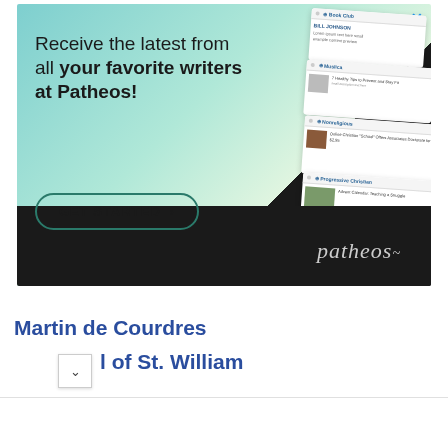[Figure (screenshot): Patheos advertisement banner showing 'Receive the latest from all your favorite writers at Patheos!' with a GET STARTED button, displayed on a teal-to-dark gradient background with overlapping browser window mockups on the right side showing various Patheos channel pages (Book Club, Muslica, Nonreligious, Progressive Christian). The Patheos logo appears in the lower right.]
Martin de Courdres
l of St. William